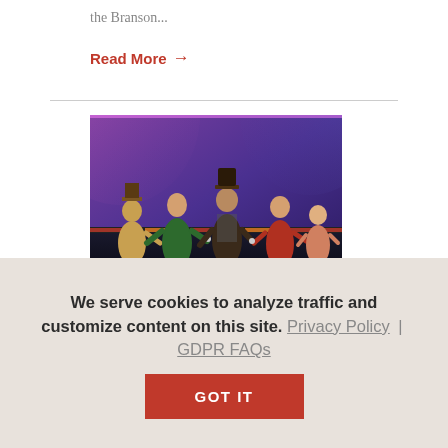the Branson...
Read More →
[Figure (photo): Four men performing on a stage with colorful purple and red lighting. One wears a hat and vest, others wear jackets and casual clothing, holding microphones in performance poses.]
We serve cookies to analyze traffic and customize content on this site. Privacy Policy | GDPR FAQs
GOT IT